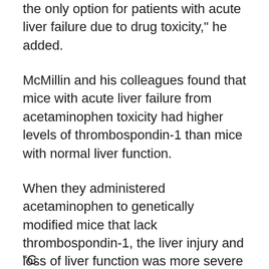the only option for patients with acute liver failure due to drug toxicity," he added.
McMillin and his colleagues found that mice with acute liver failure from acetaminophen toxicity had higher levels of thrombospondin-1 than mice with normal liver function.
When they administered acetaminophen to genetically modified mice that lack thrombospondin-1, the liver injury and loss of liver function was more severe compared to unmodified mice.
The researchers also observed impaired liver regeneration and increased cell death in the mice without thrombospondin-1.
"C...